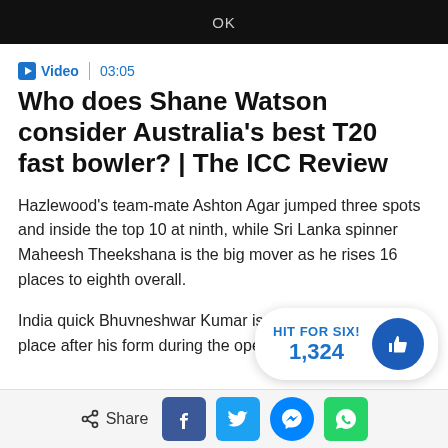OK
Video | 03:05
Who does Shane Watson consider Australia's best T20 fast bowler? | The ICC Review
Hazlewood's team-mate Ashton Agar jumped three spots and inside the top 10 at ninth, while Sri Lanka spinner Maheesh Theekshana is the big mover as he rises 16 places to eighth overall.
India quick Bhuvneshwar Kumar is on … in 11th place after his form during the opening three matches
HIT FOR SIX! 1,324
Share